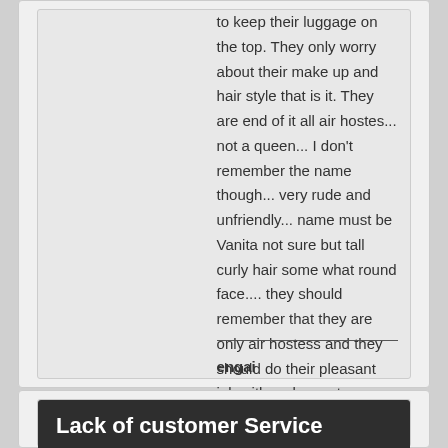to keep their luggage on the top. They only worry about their make up and hair style that is it. They are end of it all air hostes... not a queen... I don't remember the name though... very rude and unfriendly... name must be Vanita not sure but tall curly hair some what round face.... they should remember that they are only air hostess and they should do their pleasant job with a pleasant attitude...
engai
mumbai
Lack of customer Service
This is with a heavy heart that I write